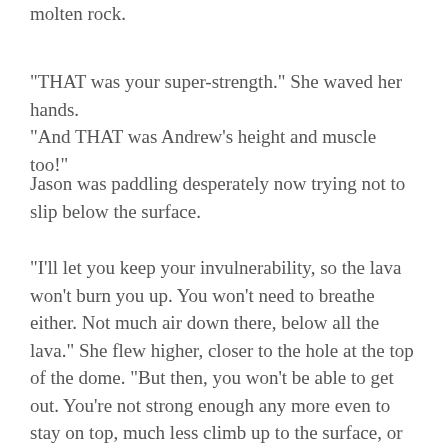molten rock.
"THAT was your super-strength." She waved her hands. "And THAT was Andrew's height and muscle too!"
Jason was paddling desperately now trying not to slip below the surface.
"I'll let you keep your invulnerability, so the lava won't burn you up. You won't need to breathe either. Not much air down there, below all the lava." She flew higher, closer to the hole at the top of the dome. "But then, you won't be able to get out. You're not strong enough any more even to stay on top, much less climb up to the surface, or tunnel through the rock when it gets hard. So when you get tired, and bored, down there at the bottom, five or ten or twenty thousand million years from now, you'll still be thinking of